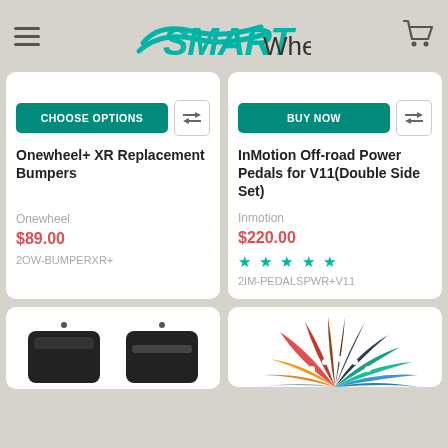SMARTWheel
CHOOSE OPTIONS
Onewheel+ XR Replacement Bumpers
Onewheel
$89.00
2OW-BUMPERXR+
BUY NOW
InMotion Off-road Power Pedals for V11(Double Side Set)
Inmotion
$220.00
★★★★★
2IM-PEDALSPWR+V11
[Figure (photo): Onewheel bumper product photo (dark, bottom of card)]
[Figure (photo): Colorful fan/paddle product image on right bottom card]